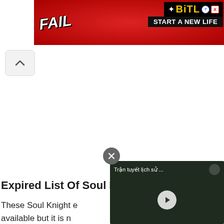[Figure (screenshot): BitLife advertisement banner with red background, 'FAIL' text, animated character, and 'START A NEW LIFE' subtitle]
[Figure (screenshot): Up arrow chevron button on light gray rounded background]
Expired List Of Soul K
These Soul Knight e available but it is n this post because of the player's awareness
[Figure (screenshot): Floating video player overlay showing 'Trận tuyết lịch sử ...' with play button on dark background scene]
[Figure (screenshot): Close (X) button for video overlay]